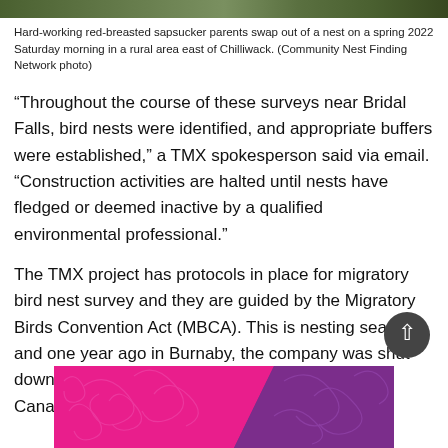[Figure (photo): Top portion of an image showing foliage/trees, cropped at the top of the page.]
Hard-working red-breasted sapsucker parents swap out of a nest on a spring 2022 Saturday morning in a rural area east of Chilliwack. (Community Nest Finding Network photo)
“Throughout the course of these surveys near Bridal Falls, bird nests were identified, and appropriate buffers were established,” a TMX spokesperson said via email. “Construction activities are halted until nests have fledged or deemed inactive by a qualified environmental professional.”
The TMX project has protocols in place for migratory bird nest survey and they are guided by the Migratory Birds Convention Act (MBCA). This is nesting season, and one year ago in Burnaby, the company was shut down when an Environment and Climate Change Canada (ECCC) wildlife
[Figure (illustration): Decorative banner/advertisement with pink magenta and purple diagonal color blocks with floral scroll designs.]